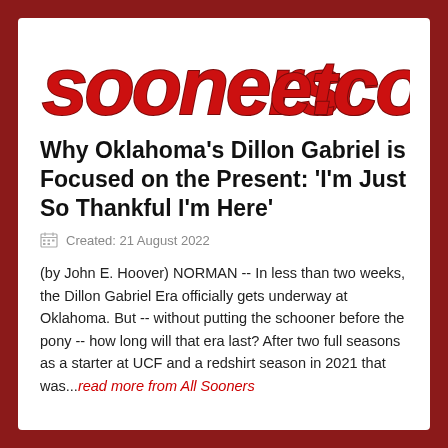[Figure (logo): SoonersEtc.com logo in bold italic red text with dark outline]
Why Oklahoma's Dillon Gabriel is Focused on the Present: 'I'm Just So Thankful I'm Here'
Created: 21 August 2022
(by John E. Hoover) NORMAN -- In less than two weeks, the Dillon Gabriel Era officially gets underway at Oklahoma. But -- without putting the schooner before the pony -- how long will that era last? After two full seasons as a starter at UCF and a redshift season in 2021 that was...read more from All Sooners